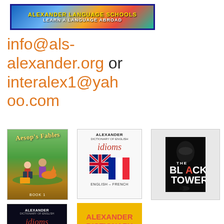[Figure (logo): Alexander Language Schools banner logo with text 'ALEXANDER LANGUAGE SCHOOLS' and 'LEARN A LANGUAGE ABROAD' on colorful background with blue border]
info@als-alexander.org or interalex1@yahoo.com
[Figure (illustration): Aesop's Fables book cover - Book 1, children reading with animals in colorful illustrated scene]
[Figure (illustration): Alexander Dictionary of English Idioms - English-French edition with UK and French flags]
[Figure (illustration): The Black Tower book cover with black background and red/white text]
[Figure (illustration): Alexander Dictionary of English Idioms cover with dark background and globe]
[Figure (illustration): Alexander Dictionary of English Idioms: English-Vietnamese edition with yellow background and red text]